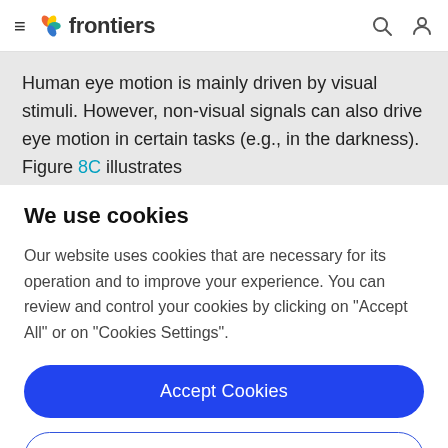frontiers
Human eye motion is mainly driven by visual stimuli. However, non-visual signals can also drive eye motion in certain tasks (e.g., in the darkness). Figure 8C illustrates
We use cookies
Our website uses cookies that are necessary for its operation and to improve your experience. You can review and control your cookies by clicking on "Accept All" or on "Cookies Settings".
Accept Cookies
Cookies Settings